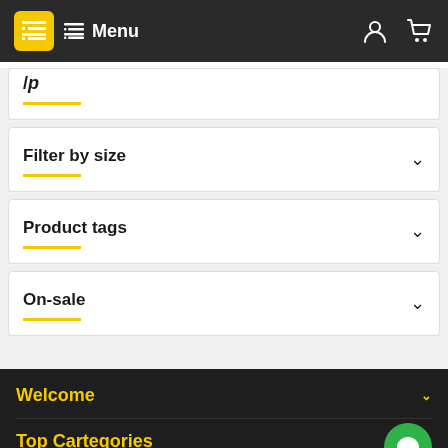Menu
Filter by size
Product tags
On-sale
Welcome
Top Cartegories
About